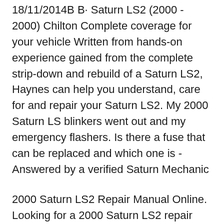18/11/2014B B· Saturn LS2 (2000 - 2000) Chilton Complete coverage for your vehicle Written from hands-on experience gained from the complete strip-down and rebuild of a Saturn LS2, Haynes can help you understand, care for and repair your Saturn LS2. My 2000 Saturn LS blinkers went out and my emergency flashers. Is there a fuse that can be replaced and which one is - Answered by a verified Saturn Mechanic
2000 Saturn LS2 Repair Manual Online. Looking for a 2000 Saturn LS2 repair manual? With Chilton's online Do-It-Yourself Saturn LS2 repair manuals, you can view any year's manual 24/7/365.. Our 2000 Saturn LS2 repair manuals include all the information you need to repair or service your 2000 LS2, including diagnostic